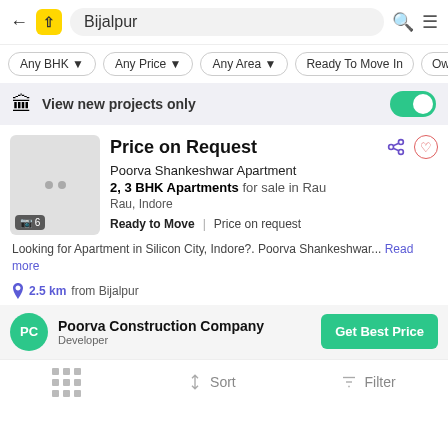Bijalpur
Any BHK | Any Price | Any Area | Ready To Move In | Owner
View new projects only
Price on Request
Poorva Shankeshwar Apartment
2, 3 BHK Apartments for sale in Rau
Rau, Indore
Ready to Move | Price on request
Looking for Apartment in Silicon City, Indore?. Poorva Shankeshwar... Read more
2.5 km from Bijalpur
Poorva Construction Company Developer
Get Best Price
Sort | Filter